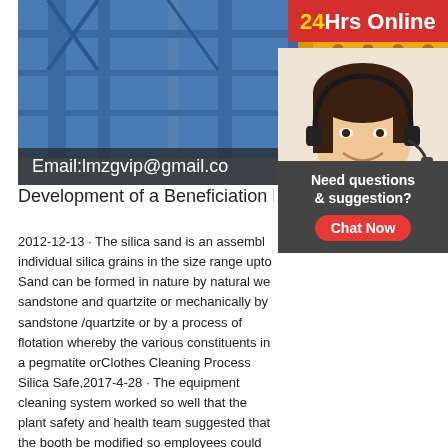[Figure (photo): Industrial mining/crushing machinery with blue steel frame structure and yellow/orange heavy equipment against a light sky background]
Email:lmzgvip@gmail.co
[Figure (photo): Customer service representative wearing a headset, smiling, with '24Hrs Online' badge and 'Need questions & suggestion? Chat Now' overlay]
Development of a Beneficiation Flow S
2012-12-13 · The silica sand is an assembl individual silica grains in the size range upto Sand can be formed in nature by natural we sandstone and quartzite or mechanically by sandstone /quartzite or by a process of flotation whereby the various constituents in a pegmatite orClothes Cleaning Process Silica Safe,2017-4-28 · The equipment cleaning system worked so well that the plant safety and health team suggested that the booth be modified so employees could clean their work clothes along with their tools. The intended result of this clothes cleaning process was to further reduce the potential dust exposure to employees in an